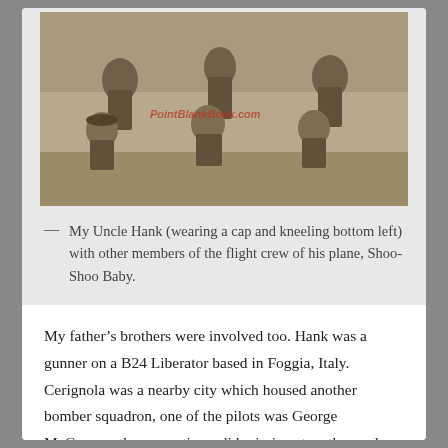[Figure (photo): Black and white historical photograph of a group of men in military uniforms, some standing and some kneeling, posed outdoors. A red watermark reading 'PointBlankBook.com' appears in the center of the image.]
— My Uncle Hank (wearing a cap and kneeling bottom left) with other members of the flight crew of his plane, Shoo-Shoo Baby.
My father's brothers were involved too. Hank was a gunner on a B24 Liberator based in Foggia, Italy. Cerignola was a nearby city which housed another bomber squadron, one of the pilots was George McGovern, they sometimes did missions together and always requested the “Homestead Grays,” the all-black Mustang fighter escort, “Tuskegee airmen.”
[Figure (photo): Partial view of another black and white historical photograph at the bottom of the page, cropped.]